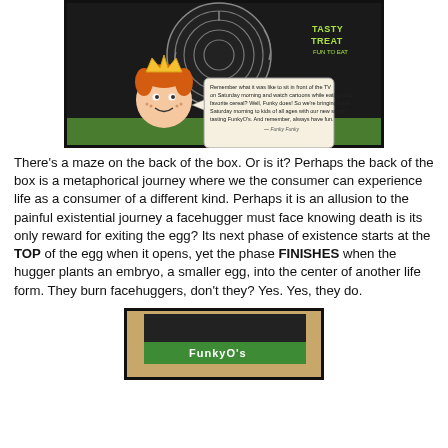[Figure (photo): Photo of the back of a cereal/snack box showing a maze puzzle with a cartoon red-haired boy wearing a crown and a speech bubble. Text 'TASTY TREAT FUN TO EAT' visible in green on dark background.]
There's a maze on the back of the box. Or is it? Perhaps the back of the box is a metaphorical journey where we the consumer can experience life as a consumer of a different kind. Perhaps it is an allusion to the painful existential journey a facehugger must face knowing death is its only reward for exiting the egg? Its next phase of existence starts at the TOP of the egg when it opens, yet the phase FINISHES when the hugger plants an embryo, a smaller egg, into the center of another life form. They burn facehuggers, don't they? Yes. Yes, they do.
[Figure (photo): Photo of a box or package partially visible at the bottom of the page, showing a green element on a beige/brown background with a black border.]